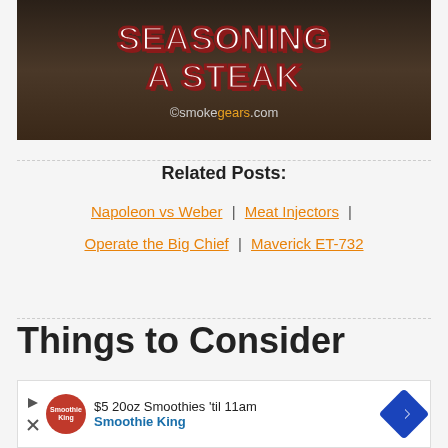[Figure (photo): Image showing text 'SEASONING A STEAK' in bold white letters with red outline on a dark grill background, with 'smokegears.com' watermark in grey and orange text]
Related Posts:
Napoleon vs Weber | Meat Injectors | Operate the Big Chief | Maverick ET-732
Things to Consider
[Figure (other): Advertisement banner: $5 20oz Smoothies 'til 11am - Smoothie King]